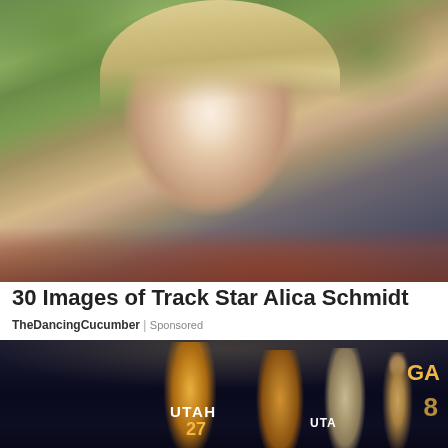[Figure (photo): Close-up portrait of Alica Schmidt, a blonde female track athlete, looking over her shoulder with an athletic track visible in the background]
30 Images of Track Star Alica Schmidt
TheDancingCucumber | Sponsored
[Figure (photo): Utah Jazz NBA basketball players in their team uniforms on the court, including players with jersey numbers 27, showing multiple players standing together]